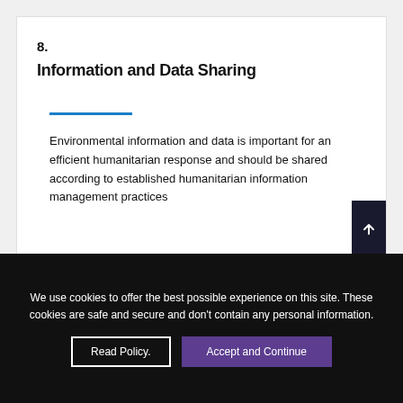8.
Information and Data Sharing
Environmental information and data is important for an efficient humanitarian response and should be shared according to established humanitarian information management practices
9.
We use cookies to offer the best possible experience on this site. These cookies are safe and secure and don't contain any personal information.